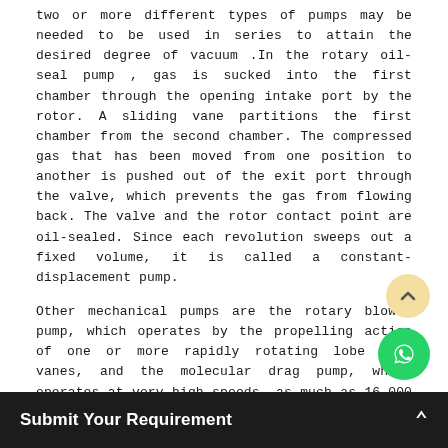two or more different types of pumps may be needed to be used in series to attain the desired degree of vacuum .In the rotary oil-seal pump , gas is sucked into the first chamber through the opening intake port by the rotor. A sliding vane partitions the first chamber from the second chamber. The compressed gas that has been moved from one position to another is pushed out of the exit port through the valve, which prevents the gas from flowing back. The valve and the rotor contact point are oil-sealed. Since each revolution sweeps out a fixed volume, it is called a constant-displacement pump.
Other mechanical pumps are the rotary blower pump, which operates by the propelling action of one or more rapidly rotating lobe like vanes, and the molecular drag pump, which operates at very high speeds, as much as 16,000 rpm. Pumping is accomplished by imparting a high momentum to the gas molecules by the impingement of the rapidly rotating body.
The pharmaceutical industry employs several vacuum controlled processes that separate ingredients without degrading them. Some of the processes are
Drying
Sterilization
Submit Your Requirement